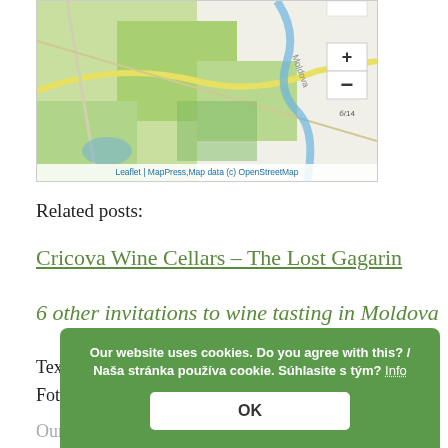[Figure (map): OpenStreetMap showing Moldova region with green fields, roads, and river. Zoom controls (+/-) visible. Attribution: Leaflet | MapPress, Map data (c) OpenStreetMap]
Related posts:
Cricova Wine Cellars – The Lost Gagarin
6 other invitations to wine tasting in Moldova
Text: © Copyright Ingrid, Travelpotpourri
Fotos: © Copyright Ingrid, Travelpotpourri
Our thanks to the National Inbound Tourism Association of Moldova and the National Center for Vine and Wine for organizing the visit.
Our website uses cookies. Do you agree with this? / Naša stránka používa cookie. Súhlasite s tým? Info OK